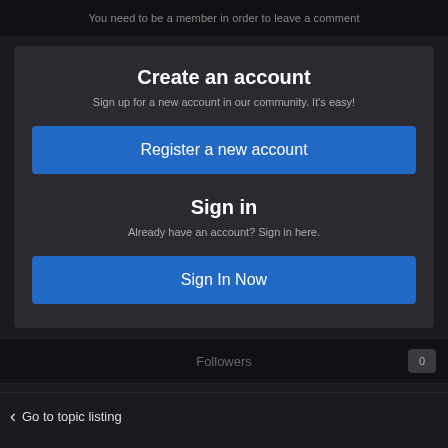You need to be a member in order to leave a comment
Create an account
Sign up for a new account in our community. It's easy!
Register a new account
Sign in
Already have an account? Sign in here.
Sign In Now
Followers  0
Go to topic listing